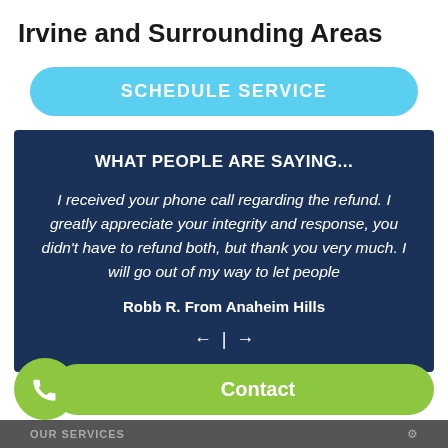Irvine and Surrounding Areas
SCHEDULE SERVICE
WHAT PEOPLE ARE SAYING...
I received your phone call regarding the refund. I greatly appreciate your integrity and response, you didn't have to refund both, but thank you very much. I will go out of my way to let people
Robb R. From Anaheim Hills
← | →
Contact
OUR SERVICES